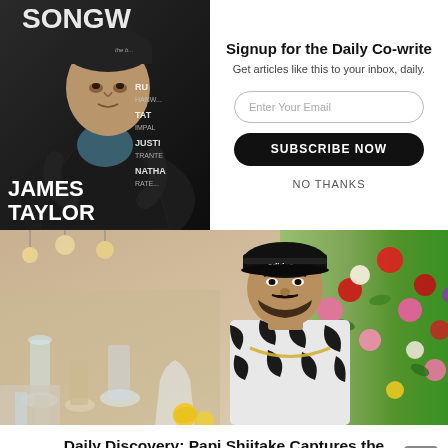[Figure (photo): Magazine cover featuring James Taylor in dark jacket, seated, with text overlay showing 'JAMES TAYLOR' in large letters, plus partial names RU..., TA... IMPA..., JUSTI TRANTE..., NATHA RATE..., and publication title SONGW...]
Signup for the Daily Co-write
Get articles like this to your inbox, daily.
Enter Your Email
SUBSCRIBE NOW
NO THANKS
[Figure (photo): Man wearing black Adidas cap, zebra-print tracksuit and chain necklace, standing in front of a colorful floral backdrop with various glassware and table decorations visible behind him.]
Daily Discovery: Papi Shiitake Captures the Soul of a “Mexican Moonlight”